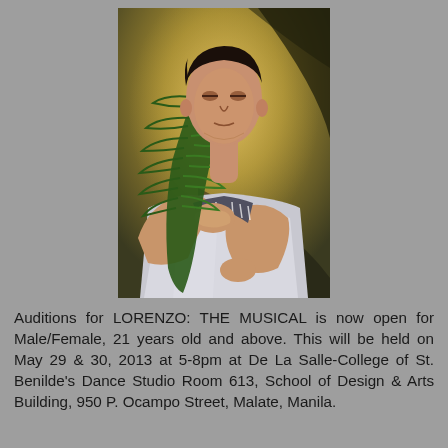[Figure (illustration): Painting of a young man holding a green palm frond (martyr's palm) against his chest, wearing a white shirt, gazing upward. Religious/devotional style portrait, likely depicting Lorenzo Ruiz.]
Auditions for LORENZO: THE MUSICAL is now open for Male/Female, 21 years old and above. This will be held on May 29 & 30, 2013 at 5-8pm at De La Salle-College of St. Benilde's Dance Studio Room 613, School of Design & Arts Building, 950 P. Ocampo Street, Malate, Manila.